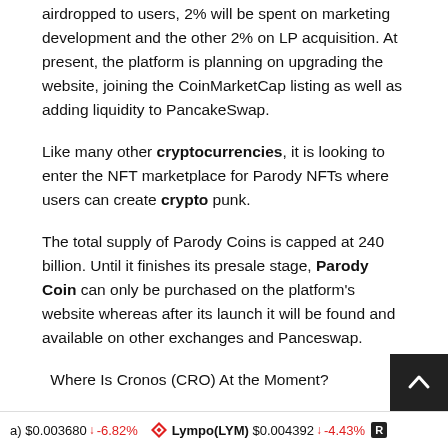airdropped to users, 2% will be spent on marketing development and the other 2% on LP acquisition. At present, the platform is planning on upgrading the website, joining the CoinMarketCap listing as well as adding liquidity to PancakeSwap.
Like many other cryptocurrencies, it is looking to enter the NFT marketplace for Parody NFTs where users can create crypto punk.
The total supply of Parody Coins is capped at 240 billion. Until it finishes its presale stage, Parody Coin can only be purchased on the platform's website whereas after its launch it will be found and available on other exchanges and Panceswap.
Where Is Cronos (CRO) At the Moment?
Built on Cosmos SDK technology, Cronos (CRO) is kno...
a) $0.003680 ↓ -6.82% Lympo(LYM) $0.004392 ↓ -4.43% R